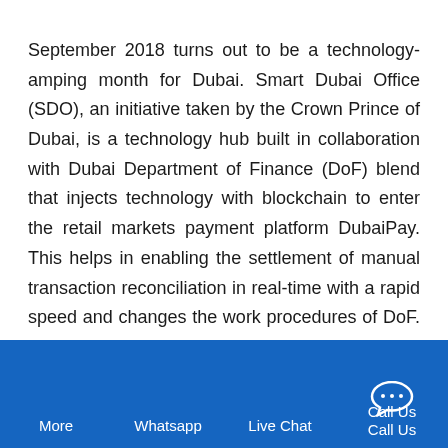September 2018 turns out to be a technology-amping month for Dubai. Smart Dubai Office (SDO), an initiative taken by the Crown Prince of Dubai, is a technology hub built in collaboration with Dubai Department of Finance (DoF) blend that injects technology with blockchain to enter the retail markets payment platform DubaiPay. This helps in enabling the settlement of manual transaction reconciliation in real-time with a rapid speed and changes the work procedures of DoF. The main motive behind this was to increase the Government's efficiency by linking everything on a virtual platform. On the other hand, the DoF needs to keep an eye on the transactions, settlements and
More  Whatsapp  Live Chat  Call Us